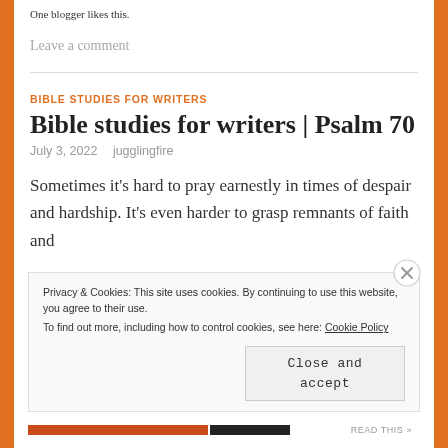One blogger likes this.
Leave a comment
BIBLE STUDIES FOR WRITERS
Bible studies for writers | Psalm 70
July 3, 2022   jugglingfire
Sometimes it’s hard to pray earnestly in times of despair and hardship. It’s even harder to grasp remnants of faith and
Privacy & Cookies: This site uses cookies. By continuing to use this website, you agree to their use.
To find out more, including how to control cookies, see here: Cookie Policy
Close and accept